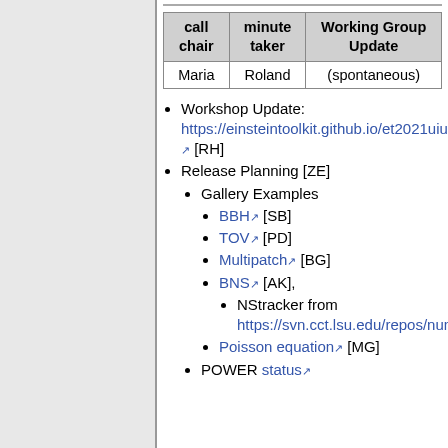| call chair | minute taker | Working Group Update |
| --- | --- | --- |
| Maria | Roland | (spontaneous) |
Workshop Update: https://einsteintoolkit.github.io/et2021uiuc/ [RH]
Release Planning [ZE]
Gallery Examples
BBH [SB]
TOV [PD]
Multipatch [BG]
BNS [AK],
NStracker from https://svn.cct.lsu.edu/repos/numrel/$1/$2/trunk
Poisson equation [MG]
POWER status